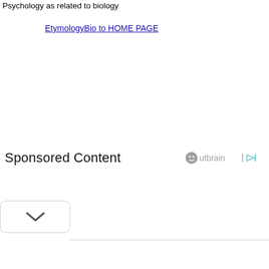Psychology as related to biology
EtymologyBio to HOME PAGE
Sponsored Content
[Figure (logo): Outbrain logo with play icon]
[Figure (other): Chevron down button at bottom left]